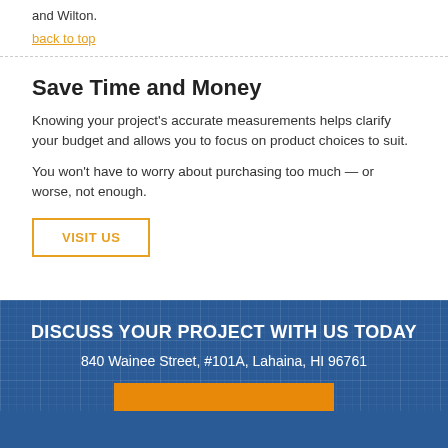and Wilton.
back to top
Save Time and Money
Knowing your project's accurate measurements helps clarify your budget and allows you to focus on product choices to suit.
You won't have to worry about purchasing too much — or worse, not enough.
VISIT US
DISCUSS YOUR PROJECT WITH US TODAY
840 Wainee Street,  #101A,  Lahaina, HI  96761